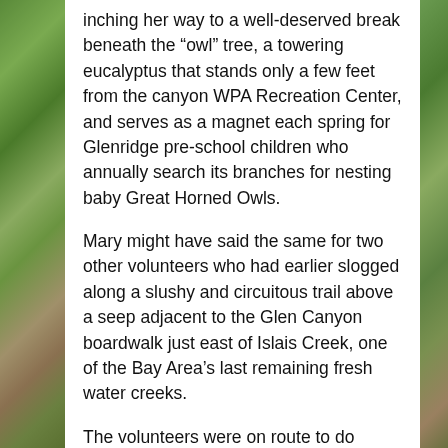inching her way to a well-deserved break beneath the “owl” tree, a towering eucalyptus that stands only a few feet from the canyon WPA Recreation Center, and serves as a magnet each spring for Glenridge pre-school children who annually search its branches for nesting baby Great Horned Owls.
Mary might have said the same for two other volunteers who had earlier slogged along a slushy and circuitous trail above a seep adjacent to the Glen Canyon boardwalk just east of Islais Creek, one of the Bay Area’s last remaining fresh water creeks.
The volunteers were on route to do battle with invasive wild radish and prickly Italian thistle.
Before their ascent and before the raindrops